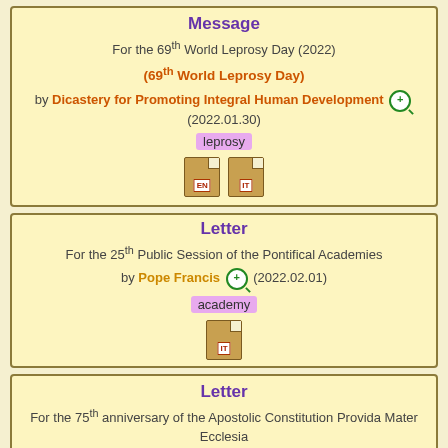Message
For the 69th World Leprosy Day (2022)
(69th World Leprosy Day)
by Dicastery for Promoting Integral Human Development (2022.01.30)
leprosy
[Figure (other): EN and IT document icons]
Letter
For the 25th Public Session of the Pontifical Academies
by Pope Francis (2022.02.01)
academy
[Figure (other): IT document icon]
Letter
For the 75th anniversary of the Apostolic Constitution Provida Mater Ecclesia
by Pope Francis (2022.02.02)
association  religious
[Figure (other): EN and IT document icons]